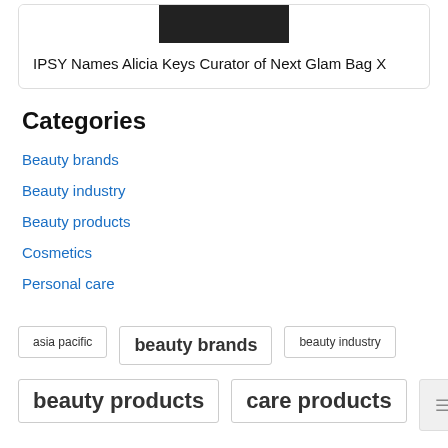[Figure (photo): Partial photo of a person (Alicia Keys) at the top of a card, cropped, dark background]
IPSY Names Alicia Keys Curator of Next Glam Bag X
Categories
Beauty brands
Beauty industry
Beauty products
Cosmetics
Personal care
asia pacific
beauty brands
beauty industry
beauty products
care products